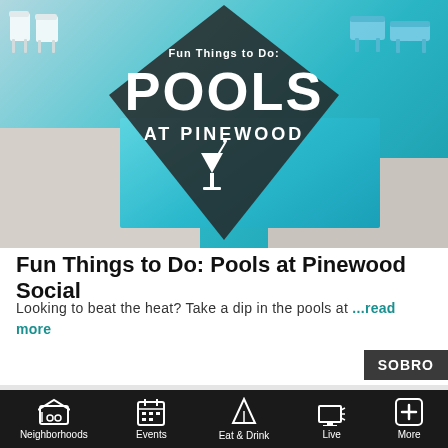[Figure (photo): Pool area at Pinewood Social with diamond-shaped overlay graphic reading 'Fun Things to Do: POOLS AT PINEWOOD' with cocktail glass icon]
Fun Things to Do: Pools at Pinewood Social
Looking to beat the heat? Take a dip in the pools at ...read more
SOBRO
[Figure (photo): Partial view of outdoor scene with arch and greenery]
Neighborhoods | Events | Eat & Drink | Live | More